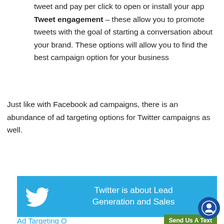tweet and pay per click to open or install your app Tweet engagement – these allow you to promote tweets with the goal of starting a conversation about your brand. These options will allow you to find the best campaign option for your business
Just like with Facebook ad campaigns, there is an abundance of ad targeting options for Twitter campaigns as well.
[Figure (infographic): Blue banner with Twitter bird logo on the left and text 'Twitter is about Lead Generation and Sales' in white on the right]